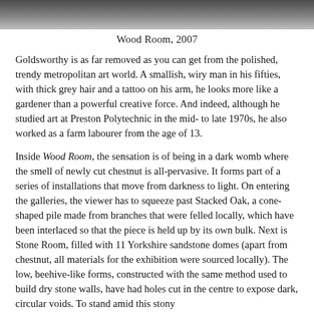[Figure (photo): Top portion of a photo, showing a dark interior scene, likely the Wood Room installation. Only the upper edge is visible.]
Wood Room, 2007
Goldsworthy is as far removed as you can get from the polished, trendy metropolitan art world. A smallish, wiry man in his fifties, with thick grey hair and a tattoo on his arm, he looks more like a gardener than a powerful creative force. And indeed, although he studied art at Preston Polytechnic in the mid- to late 1970s, he also worked as a farm labourer from the age of 13.
Inside Wood Room, the sensation is of being in a dark womb where the smell of newly cut chestnut is all-pervasive. It forms part of a series of installations that move from darkness to light. On entering the galleries, the viewer has to squeeze past Stacked Oak, a cone-shaped pile made from branches that were felled locally, which have been interlaced so that the piece is held up by its own bulk. Next is Stone Room, filled with 11 Yorkshire sandstone domes (apart from chestnut, all materials for the exhibition were sourced locally). The low, beehive-like forms, constructed with the same method used to build dry stone walls, have had holes cut in the centre to expose dark, circular voids. To stand amid this stony